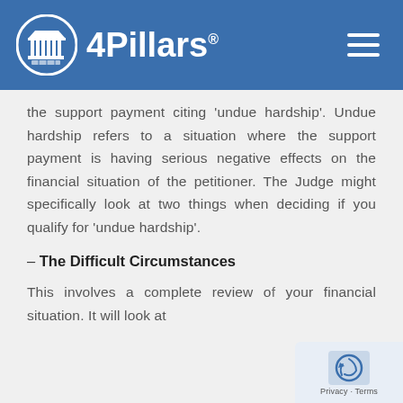4Pillars®
the support payment citing ‘undue hardship’. Undue hardship refers to a situation where the support payment is having serious negative effects on the financial situation of the petitioner. The Judge might specifically look at two things when deciding if you qualify for ‘undue hardship’.
– The Difficult Circumstances
This involves a complete review of your financial situation. It will look at